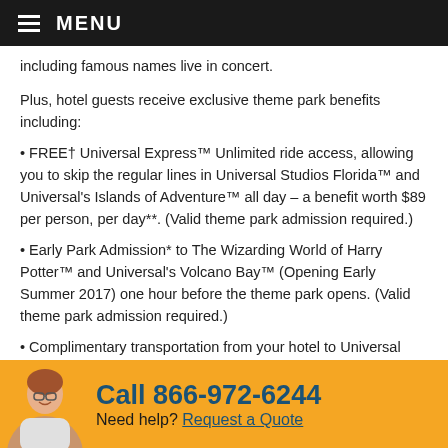MENU
including famous names live in concert.
Plus, hotel guests receive exclusive theme park benefits including:
• FREE† Universal Express™ Unlimited ride access, allowing you to skip the regular lines in Universal Studios Florida™ and Universal's Islands of Adventure™ all day – a benefit worth $89 per person, per day**. (Valid theme park admission required.)
• Early Park Admission* to The Wizarding World of Harry Potter™ and Universal's Volcano Bay™ (Opening Early Summer 2017) one hour before the theme park opens. (Valid theme park admission required.)
• Complimentary transportation from your hotel to Universal Orlando's theme parks and Universal CityWalk™.
Call 866-972-6244 Need help? Request a Quote